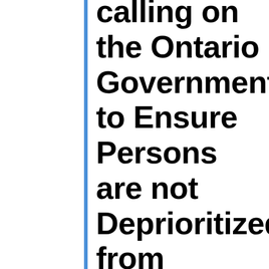...calling on the Ontario Government to Ensure Persons are not Deprioritized from Accessing Critical Care Because of...